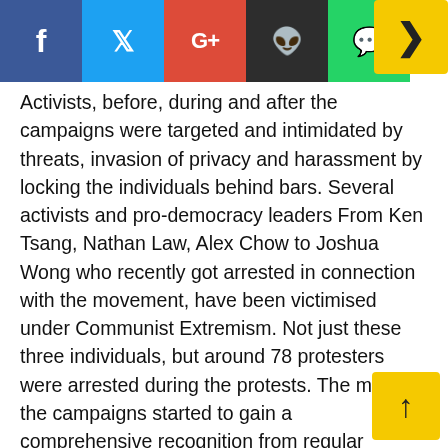[Figure (other): Social media sharing icons bar: Facebook (blue), Twitter (light blue), Google+ (red), Reddit (dark), WhatsApp (green), and a yellow arrow button on the right]
Activists, before, during and after the campaigns were targeted and intimidated by threats, invasion of privacy and harassment by locking the individuals behind bars. Several activists and pro-democracy leaders From Ken Tsang, Nathan Law, Alex Chow to Joshua Wong who recently got arrested in connection with the movement, have been victimised under Communist Extremism. Not just these three individuals, but around 78 protesters were arrested during the protests. The moment the campaigns started to gain a comprehensive recognition from regular commuters to household residents, the government began cracking down on individuals promoting or participating in it.
Joshua Wong, aged 21, was arrested and sentenced a second time on last Week by the semi-autonomous